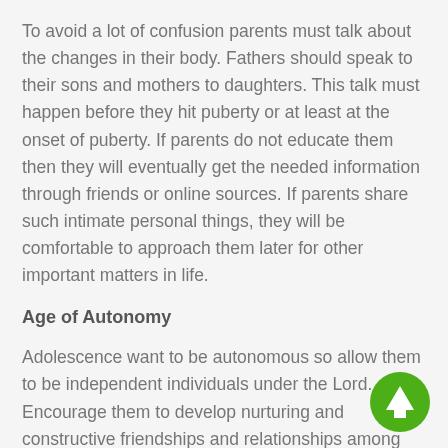To avoid a lot of confusion parents must talk about the changes in their body. Fathers should speak to their sons and mothers to daughters. This talk must happen before they hit puberty or at least at the onset of puberty. If parents do not educate them then they will eventually get the needed information through friends or online sources. If parents share such intimate personal things, they will be comfortable to approach them later for other important matters in life.
Age of Autonomy
Adolescence want to be autonomous so allow them to be independent individuals under the Lord. Encourage them to develop nurturing and constructive friendships and relationships among their peers. They will have non-believing friends so watch how they are being influenced. Invite their friends' home and build strong connections with
[Figure (other): Green circular button with a white upward-pointing arrow, used as a scroll-to-top navigation element.]